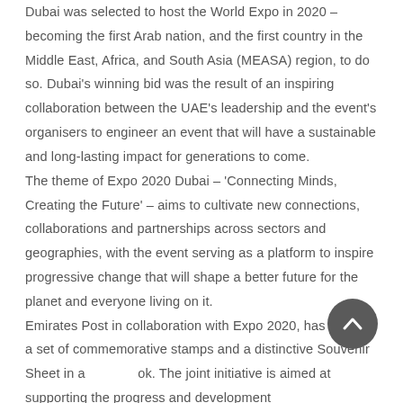Dubai was selected to host the World Expo in 2020 – becoming the first Arab nation, and the first country in the Middle East, Africa, and South Asia (MEASA) region, to do so. Dubai's winning bid was the result of an inspiring collaboration between the UAE's leadership and the event's organisers to engineer an event that will have a sustainable and long-lasting impact for generations to come. The theme of Expo 2020 Dubai – 'Connecting Minds, Creating the Future' – aims to cultivate new connections, collaborations and partnerships across sectors and geographies, with the event serving as a platform to inspire progressive change that will shape a better future for the planet and everyone living on it. Emirates Post in collaboration with Expo 2020, has issued a set of commemorative stamps and a distinctive Souvenir Sheet in a new look. The joint initiative is aimed at supporting the progress and development of the UAE.
[Figure (other): A circular dark grey scroll-to-top button with an upward-pointing chevron arrow, positioned at the bottom right of the page.]